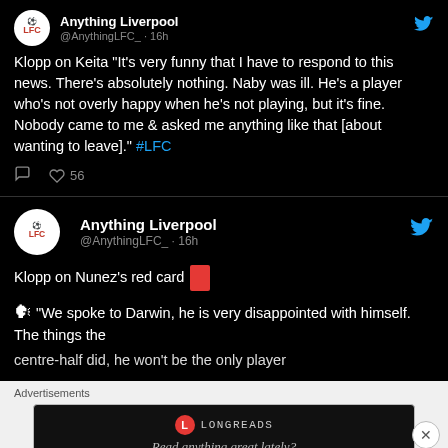[Figure (screenshot): Tweet from Anything Liverpool (@AnythingLFC_) 16h ago: Klopp on Keita quote about responding to news, Naby being ill, nobody asked about wanting to leave. #LFC. 56 likes.]
[Figure (screenshot): Tweet from Anything Liverpool (@AnythingLFC_) 16h ago: Klopp on Nunez's red card. Quote about speaking to Darwin, he is very disappointed with himself. Things the centre-half did... (truncated)]
Advertisements
[Figure (screenshot): Longreads advertisement: Read anything great lately?]